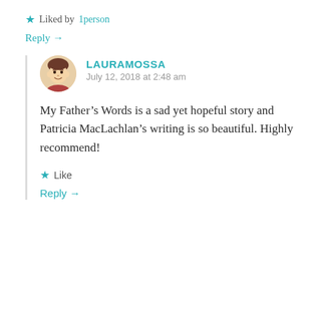Liked by 1person
Reply →
LAURAMOSSA
July 12, 2018 at 2:48 am
My Father's Words is a sad yet hopeful story and Patricia MacLachlan's writing is so beautiful. Highly recommend!
Like
Reply →